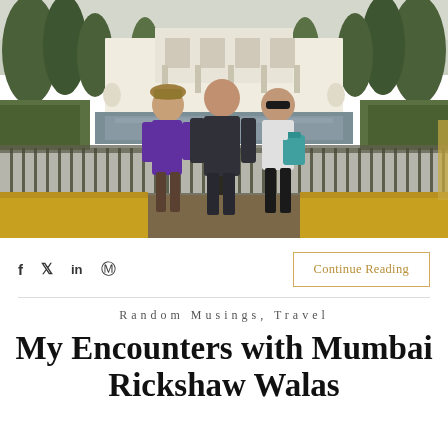[Figure (photo): Three people posing in front of a grand white colonial building with a reflecting pool, ornate iron fence, palm trees, and yellow flower beds.]
f  𝕏  in  ⊙
Continue Reading
Random Musings, Travel
My Encounters with Mumbai Rickshaw Walas